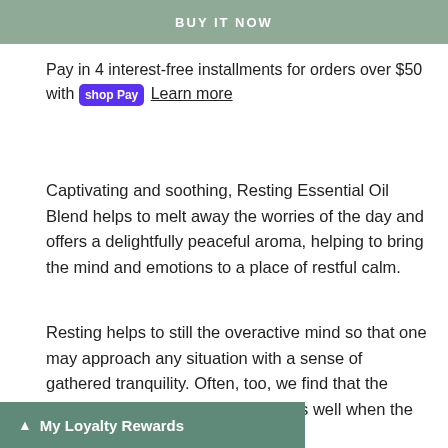[Figure (other): BUY IT NOW button in sage green/muted teal background]
Pay in 4 interest-free installments for orders over $50 with Shop Pay Learn more
Captivating and soothing, Resting Essential Oil Blend helps to melt away the worries of the day and offers a delightfully peaceful aroma, helping to bring the mind and emotions to a place of restful calm.
Resting helps to still the overactive mind so that one may approach any situation with a sense of gathered tranquility. Often, too, we find that the bodily tensions tend to loosen up as well when the mind becomes settled and quiet.
My Loyalty Rewards